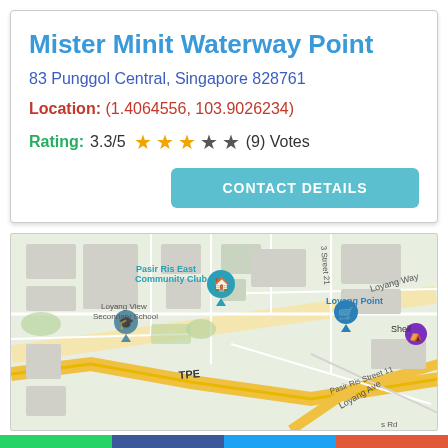Mister Minit Waterway Point
83 Punggol Central, Singapore 828761
Location: (1.4064556, 103.9026234)
Rating: 3.3/5 ★★★☆☆ (9) Votes
[Figure (other): CONTACT DETAILS button]
[Figure (map): Google map showing area around Pasir Ris East Community Club, Loyang View Secondary School, Loyang Point, Shell, TPE expressway, Loyang Ave, Pasir Ris Street 11]
[Figure (other): Social sharing bar with WhatsApp, Facebook, Twitter and more buttons]